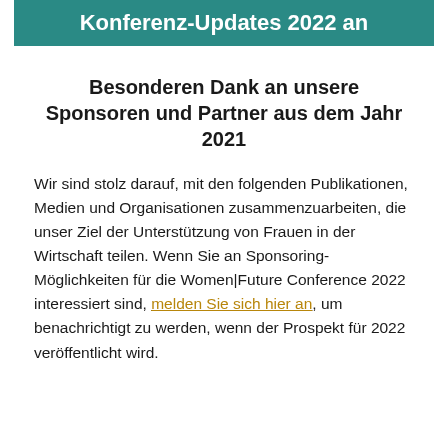Konferenz-Updates 2022 an
Besonderen Dank an unsere Sponsoren und Partner aus dem Jahr 2021
Wir sind stolz darauf, mit den folgenden Publikationen, Medien und Organisationen zusammenzuarbeiten, die unser Ziel der Unterstützung von Frauen in der Wirtschaft teilen. Wenn Sie an Sponsoring-Möglichkeiten für die Women|Future Conference 2022 interessiert sind, melden Sie sich hier an, um benachrichtigt zu werden, wenn der Prospekt für 2022 veröffentlicht wird.